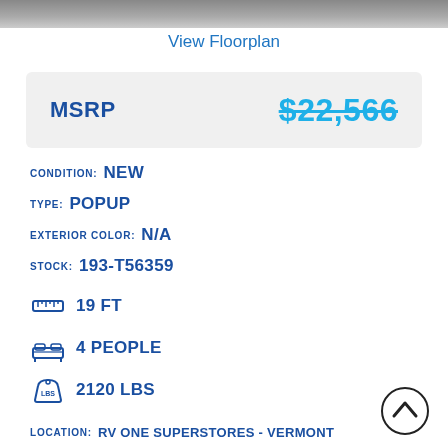[Figure (photo): Top portion of an RV/trailer photo, cropped]
View Floorplan
| Label | Value |
| --- | --- |
| MSRP | $22,566 |
CONDITION: NEW
TYPE: POPUP
EXTERIOR COLOR: N/A
STOCK: 193-T56359
19 FT
4 PEOPLE
2120 LBS
LOCATION: RV ONE SUPERSTORES - VERMONT